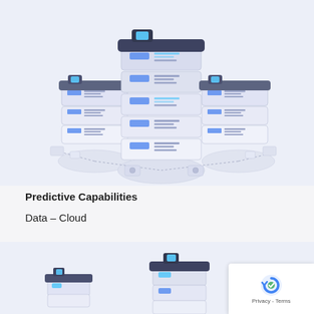[Figure (illustration): Isometric illustration of three server/data center towers connected by dotted lines on floating platforms, with blue accent panels, on a light lavender background]
Predictive Capabilities
Data – Cloud
[Figure (illustration): Partial isometric illustration at bottom showing server/cloud components on light lavender background, partially cropped]